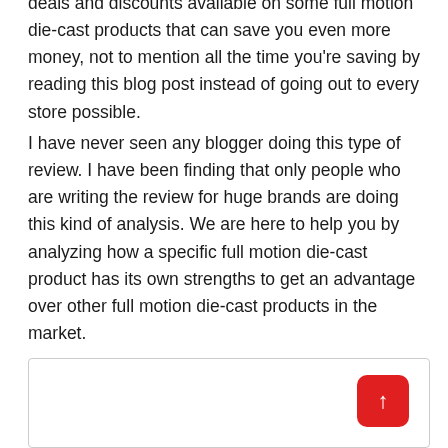deals and discounts available on some full motion die-cast products that can save you even more money, not to mention all the time you're saving by reading this blog post instead of going out to every store possible.
I have never seen any blogger doing this type of review. I have been finding that only people who are writing the review for huge brands are doing this kind of analysis. We are here to help you by analyzing how a specific full motion die-cast product has its own strengths to get an advantage over other full motion die-cast products in the market.
[Figure (other): A bordered white box with a red rounded-square scroll-to-top button (containing an upward arrow) in the bottom-right corner.]